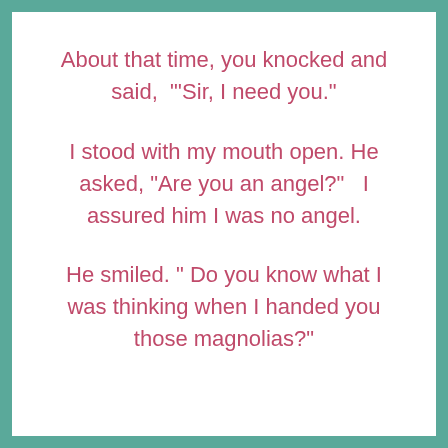About that time, you knocked and said,  "'Sir, I need you."
I stood with my mouth open. He asked, “Are you an angel?”   I assured him I was no angel.
He smiled. " Do you know what I was thinking when I handed you those magnolias?"